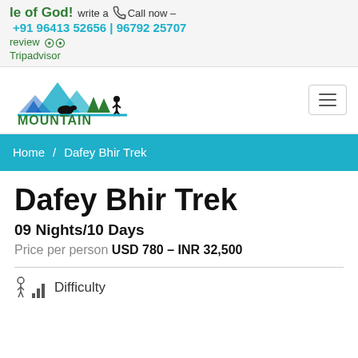le of God! write a  Call now – +91 96413 52656 | 96792 25707  review  Tripadvisor
[Figure (logo): Mountain Tours & Travels logo with mountain, trees, tent, yak and hiker silhouettes in blue and green]
Home / Dafey Bhir Trek
Dafey Bhir Trek
09 Nights/10 Days
Price per person USD 780 – INR 32,500
Difficulty